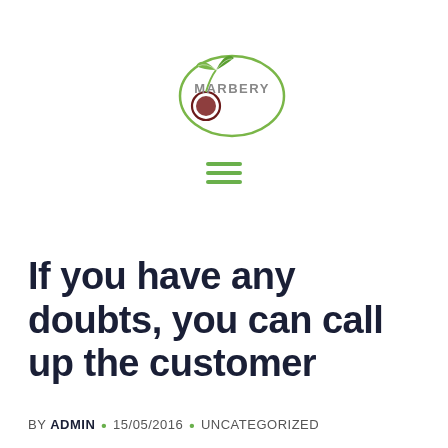[Figure (logo): Marbery logo with green leaves and a dark red cherry/olive fruit inside a green oval circle outline, with the text MARBERY in grey]
[Figure (other): Hamburger menu icon with three green horizontal lines]
If you have any doubts, you can call up the customer
BY ADMIN • 15/05/2016 • UNCATEGORIZED